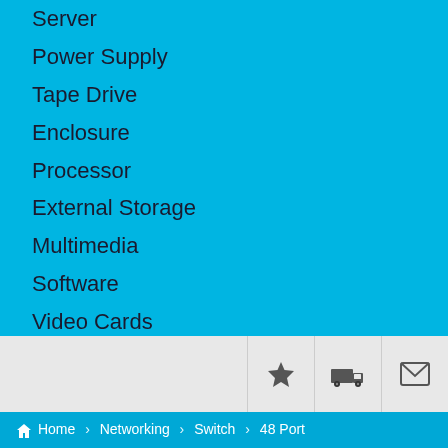Server
Power Supply
Tape Drive
Enclosure
Processor
External Storage
Multimedia
Software
Video Cards
Hot Swap Trays
Motherboard
Battery
Cables
Accessories
[Figure (screenshot): Toolbar with star, truck, and envelope icons on grey background]
Home > Networking > Switch > 48 Port